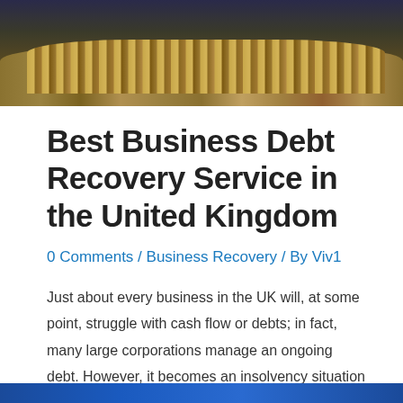[Figure (photo): Photo of stacked gold coins on a wooden surface with a dark blue background, suggesting financial/business theme.]
Best Business Debt Recovery Service in the United Kingdom
0 Comments / Business Recovery / By Viv1
Just about every business in the UK will, at some point, struggle with cash flow or debts; in fact, many large corporations manage an ongoing debt. However, it becomes an insolvency situation when that debt gets out of control and increases to the stage where incoming revenue is just not enough to cover outgoings. The …
Read More »